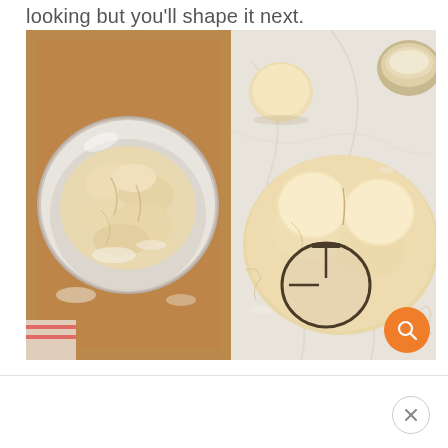looking but you'll shape it next.
[Figure (photo): Left: shaggy biscuit dough in a clear glass bowl on a wooden board. Right: flattened biscuit dough on a marble surface with circular biscuit cutter cutting rounds, several cut rounds visible alongside a bowl of flour in background.]